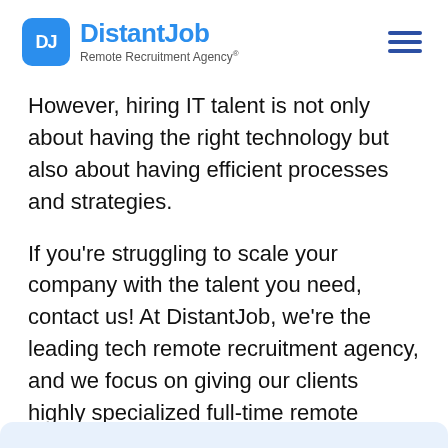[Figure (logo): DistantJob Remote Recruitment Agency logo with blue rounded square icon showing 'DJ' and blue text company name]
However, hiring IT talent is not only about having the right technology but also about having efficient processes and strategies.
If you're struggling to scale your company with the talent you need, contact us! At DistantJob, we're the leading tech remote recruitment agency, and we focus on giving our clients highly specialized full-time remote employees.